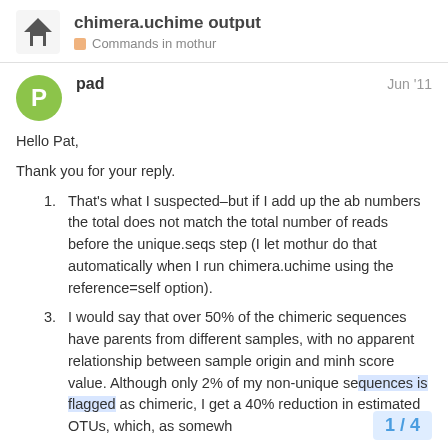chimera.uchime output — Commands in mothur
pad — Jun '11
Hello Pat,
Thank you for your reply.
That's what I suspected–but if I add up the ab numbers the total does not match the total number of reads before the unique.seqs step (I let mothur do that automatically when I run chimera.uchime using the reference=self option).
I would say that over 50% of the chimeric sequences have parents from different samples, with no apparent relationship between sample origin and minh score value. Although only 2% of my non-unique sequences is flagged as chimeric, I get a 40% reduction in estimated OTUs, which, as somewh…
1 / 4